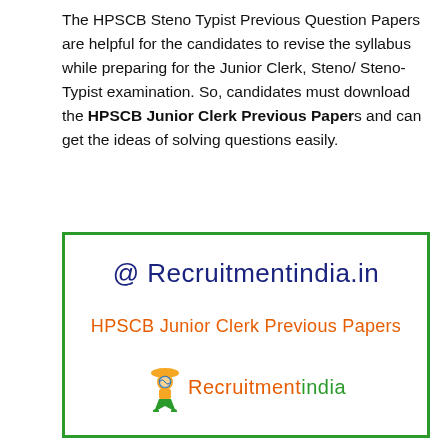The HPSCB Steno Typist Previous Question Papers are helpful for the candidates to revise the syllabus while preparing for the Junior Clerk, Steno/ Steno-Typist examination. So, candidates must download the HPSCB Junior Clerk Previous Papers and can get the ideas of solving questions easily.
[Figure (infographic): A green-bordered box containing the website name '@ Recruitmentindia.in' in dark blue, the text 'HPSCB Junior Clerk Previous Papers' in orange, and the Recruitmentindia logo at the bottom.]